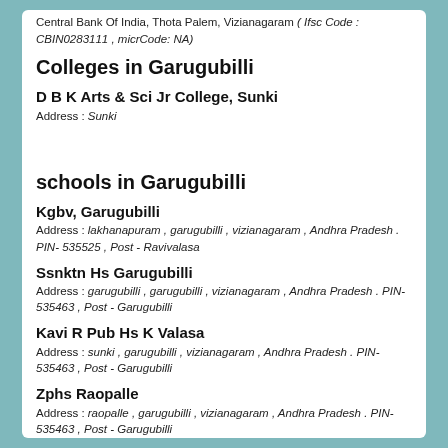Central Bank Of India, Thota Palem, Vizianagaram ( Ifsc Code : CBIN0283111 , micrCode: NA)
Colleges in Garugubilli
D B K Arts & Sci Jr College, Sunki
Address : Sunki
schools in Garugubilli
Kgbv, Garugubilli
Address : lakhanapuram , garugubilli , vizianagaram , Andhra Pradesh . PIN- 535525 , Post - Ravivalasa
Ssnktn Hs Garugubilli
Address : garugubilli , garugubilli , vizianagaram , Andhra Pradesh . PIN- 535463 , Post - Garugubilli
Kavi R Pub Hs K Valasa
Address : sunki , garugubilli , vizianagaram , Andhra Pradesh . PIN- 535463 , Post - Garugubilli
Zphs Raopalle
Address : raopalle , garugubilli , vizianagaram , Andhra Pradesh . PIN- 535463 , Post - Garugubilli
Apswrs (g) Garugubilli
Address : garugubilli , garugubilli , vizianagaram , Andhra